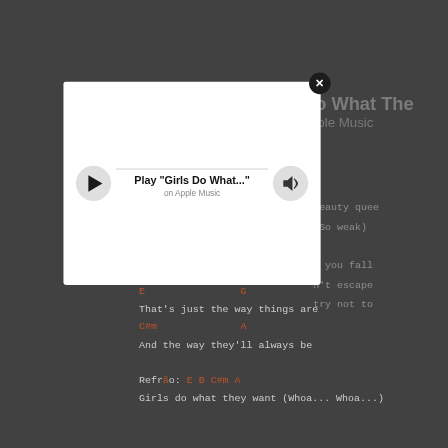[Figure (screenshot): A music player modal dialog overlaid on a dark background showing song lyrics with guitar chords. The modal shows a play button, the text 'Play "Girls Do What..."' and 'on Apple Music', with a volume button. A close (X) button appears at the top right of the modal. Behind the modal, partial song lyrics and chords are visible including 'Beauty queen', '(So weak)', 'h you fall', 'n't escape', 'try not to', chord markers 'C#m' and 'A', lyrics 'That's just the way things are', 'And the way they'll always be', 'Refrao: E B C#m A', 'Girls do what they want (Whoa... Whoa...)', and partial title text 'o What The' and 'ple Music'.]